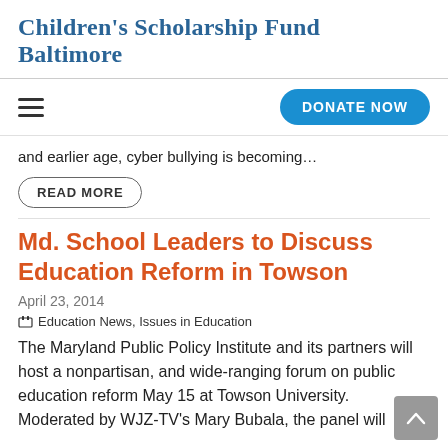Children's Scholarship Fund Baltimore
and earlier age, cyber bullying is becoming…
READ MORE
Md. School Leaders to Discuss Education Reform in Towson
April 23, 2014
Education News, Issues in Education
The Maryland Public Policy Institute and its partners will host a nonpartisan, and wide-ranging forum on public education reform May 15 at Towson University. Moderated by WJZ-TV's Mary Bubala, the panel will